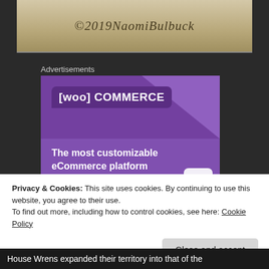[Figure (photo): Top photo strip with watermark text '©2019NaomiBullock' in italic script on a sandy/earthy background]
Advertisements
[Figure (screenshot): WooCommerce advertisement banner showing logo, tagline 'The most customizable eCommerce platform', and a 'Start a new store' button]
Privacy & Cookies: This site uses cookies. By continuing to use this website, you agree to their use.
To find out more, including how to control cookies, see here: Cookie Policy
Close and accept
House Wrens expanded their territory into that of the